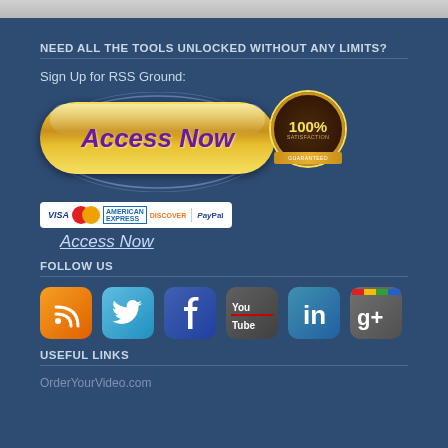NEED ALL THE TOOLS UNLOCKED WITHOUT ANY LIMITS?
Sign Up for RSS Ground:
[Figure (illustration): Golden pill-shaped 'Access Now' button with 100% Satisfaction Guaranteed badge, payment icons (VISA, MasterCard, American Express, Discover, PayPal), and 'Access Now' text link below]
FOLLOW US
[Figure (illustration): Social media icons row: RSS (orange), Twitter (blue bird), Facebook (blue f), YouTube (dark with You Tube text), LinkedIn (blue in), Google+ (dark with g+)]
USEFUL LINKS
OrderYourVideo.com